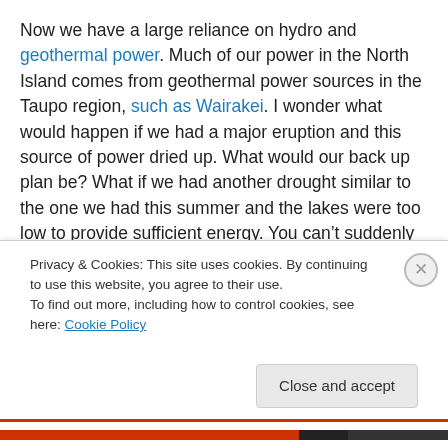Now we have a large reliance on hydro and geothermal power. Much of our power in the North Island comes from geothermal power sources in the Taupo region, such as Wairakei. I wonder what would happen if we had a major eruption and this source of power dried up. What would our back up plan be? What if we had another drought similar to the one we had this summer and the lakes were too low to provide sufficient energy. You can't suddenly roll out a solar energy plan at the last minute.
I urge Kiwis to consider solar power and feed-in tariffs
Privacy & Cookies: This site uses cookies. By continuing to use this website, you agree to their use.
To find out more, including how to control cookies, see here: Cookie Policy